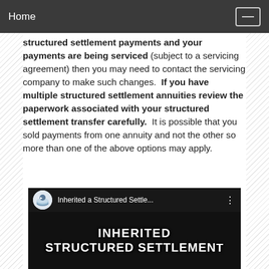Home
structured settlement payments and your payments are being serviced (subject to a servicing agreement) then you may need to contact the servicing company to make such changes.  If you have multiple structured settlement annuities review the paperwork associated with your structured settlement transfer carefully.  It is possible that you sold payments from one annuity and not the other so more than one of the above options may apply.
[Figure (screenshot): Video thumbnail for 'Inherited a Structured Settle...' showing text 'INHERITED STRUCTURED SETTLEMENT' in large white bold letters on a dark background, with a circular channel logo and video title bar at the top.]